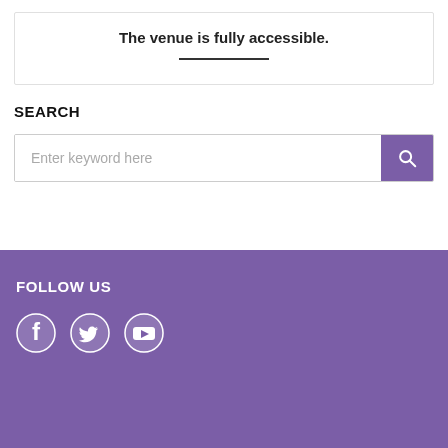The venue is fully accessible.
SEARCH
Enter keyword here
FOLLOW US
[Figure (other): Social media icons: Facebook, Twitter, YouTube]